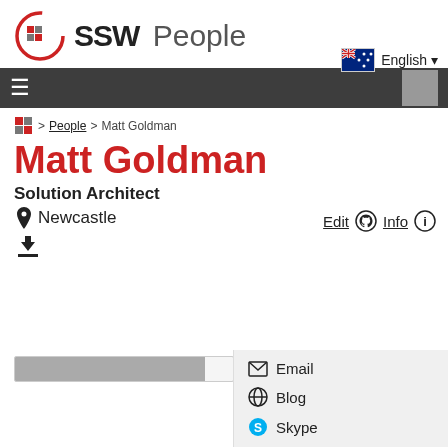SSW People
English
≡
⊞ > People > Matt Goldman
Matt Goldman
Edit  GitHub  Info
Solution Architect
Newcastle
Email
Blog
Skype